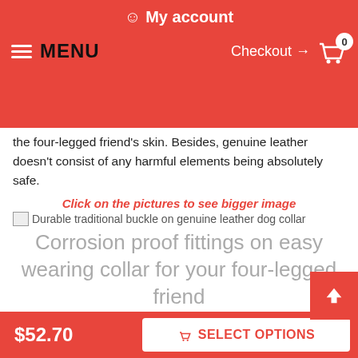My account
MENU  Checkout → 0
the four-legged friend's skin. Besides, genuine leather doesn't consist of any harmful elements being absolutely safe.
Click on the pictures to see bigger image
[Figure (photo): Broken image placeholder with alt text: Durable traditional buckle on genuine leather dog collar]
Corrosion proof fittings on easy wearing collar for your four-legged friend
Look at the decorations, they are attractive! Catchy studs are placed along the leather strap. These adornments are chrome plated and, therefore shine with amazing glittering. The sophisticated design of this supply is matchless and individual. Due to these decorations, this leather dog collar has a spark. That means your four-legged friend will have his individual and
$52.70  SELECT OPTIONS